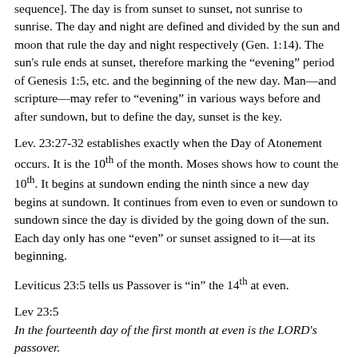sequence]. The day is from sunset to sunset, not sunrise to sunrise. The day and night are defined and divided by the sun and moon that rule the day and night respectively (Gen. 1:14). The sun's rule ends at sunset, therefore marking the “evening” period of Genesis 1:5, etc. and the beginning of the new day. Man—and scripture—may refer to “evening” in various ways before and after sundown, but to define the day, sunset is the key.
Lev. 23:27-32 establishes exactly when the Day of Atonement occurs. It is the 10th of the month. Moses shows how to count the 10th. It begins at sundown ending the ninth since a new day begins at sundown. It continues from even to even or sundown to sundown since the day is divided by the going down of the sun. Each day only has one “even” or sunset assigned to it—at its beginning.
Leviticus 23:5 tells us Passover is “in” the 14th at even.
Lev 23:5
In the fourteenth day of the first month at even is the LORD's passover.
Since Passover is “in” the 14th, it cannot be after sundown at the end of the 14th because that sundown starts the 15th, belongs to the